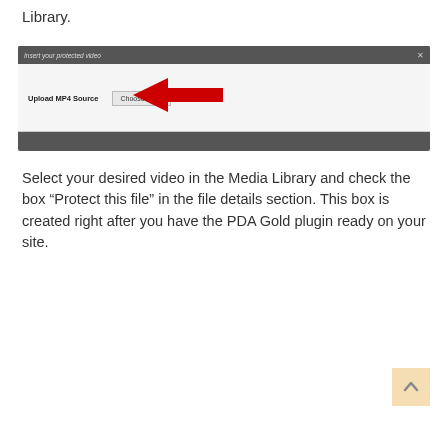Library.
[Figure (screenshot): A dialog box titled 'Insert your protected video' with an 'Upload MP4 Source' label and a 'Choose video' button, with a red arrow pointing to the button.]
Select your desired video in the Media Library and check the box “Protect this file” in the file details section. This box is created right after you have the PDA Gold plugin ready on your site.